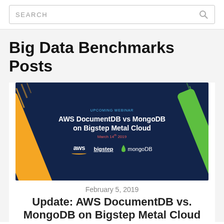SEARCH
Big Data Benchmarks Posts
[Figure (screenshot): Promotional banner for upcoming webinar: AWS DocumentDB vs MongoDB on Bigstep Metal Cloud, March 14th 2019, with aws, bigstep, and mongoDB logos on dark navy background with orange and green diagonal stripes.]
February 5, 2019
Update: AWS DocumentDB vs. MongoDB on Bigstep Metal Cloud